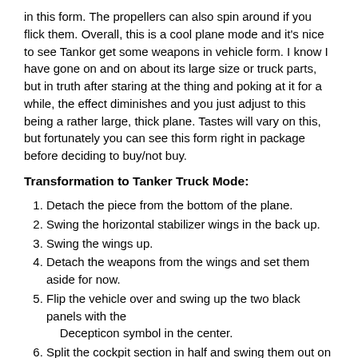in this form. The propellers can also spin around if you flick them. Overall, this is a cool plane mode and it’s nice to see Tankor get some weapons in vehicle form. I know I have gone on and on about its large size or truck parts, but in truth after staring at the thing and poking at it for a while, the effect diminishes and you just adjust to this being a rather large, thick plane. Tastes will vary on this, but fortunately you can see this form right in package before deciding to buy/not buy.
Transformation to Tanker Truck Mode:
Detach the piece from the bottom of the plane.
Swing the horizontal stabilizer wings in the back up.
Swing the wings up.
Detach the weapons from the wings and set them aside for now.
Flip the vehicle over and swing up the two black panels with the Decepticon symbol in the center.
Split the cockpit section in half and swing them out on the blue hinges.
Split the rear section of the plane in half and swing it down over the wings you folded together in step three.
On each half of the rear of the vehicle, swing the dark blue piece down and rotate them around to reveal the sides of the truck mode.